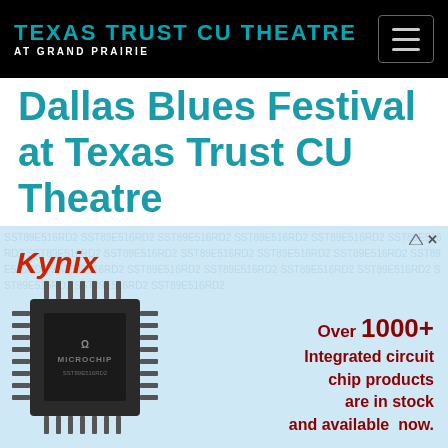TEXAS TRUST CU THEATRE AT GRAND PRAIRIE
Dallas Blues Festival at Texas Trust CU Theatre
[Figure (infographic): Kynix advertisement banner featuring a Microchip brand integrated circuit chip (SST89E516RD2) on a light blue background with text: Over 1000+ Integrated circuit chip products are in stock and available now.]